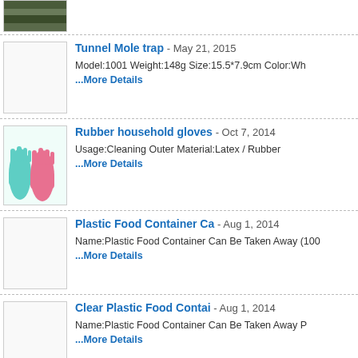[Figure (photo): Partial product thumbnail at top of page (cropped)]
[Figure (photo): Tunnel Mole trap product image placeholder (white box)]
Tunnel Mole trap  -  May 21, 2015
Model:1001 Weight:148g Size:15.5*7.9cm Color:Wh
...More Details
[Figure (photo): Rubber household gloves product image - teal and pink gloves on white background]
Rubber household gloves  -  Oct 7, 2014
Usage:Cleaning Outer Material:Latex / Rubber
...More Details
[Figure (photo): Plastic Food Container Ca product image placeholder (white box)]
Plastic Food Container Ca  -  Aug 1, 2014
Name:Plastic Food Container Can Be Taken Away (100
...More Details
[Figure (photo): Clear Plastic Food Contai product image placeholder (white box, partial)]
Clear Plastic Food Contai  -  Aug 1, 2014
Name:Plastic Food Container Can Be Taken Away P
...More Details